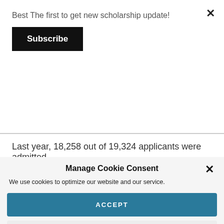Best The first to get new scholarship update!
Subscribe
Last year, 18,258 out of 19,324 applicants were admitted
Manage Cookie Consent
We use cookies to optimize our website and our service.
ACCEPT
DENY
PREFERENCES
Privacy Policy